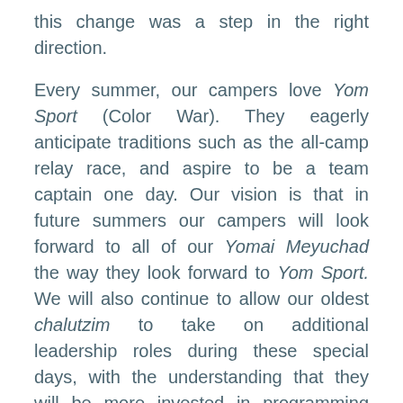this change was a step in the right direction.

Every summer, our campers love Yom Sport (Color War). They eagerly anticipate traditions such as the all-camp relay race, and aspire to be a team captain one day. Our vision is that in future summers our campers will look forward to all of our Yomai Meyuchad the way they look forward to Yom Sport. We will also continue to allow our oldest chalutzim to take on additional leadership roles during these special days, with the understanding that they will be more invested in programming they helped to create